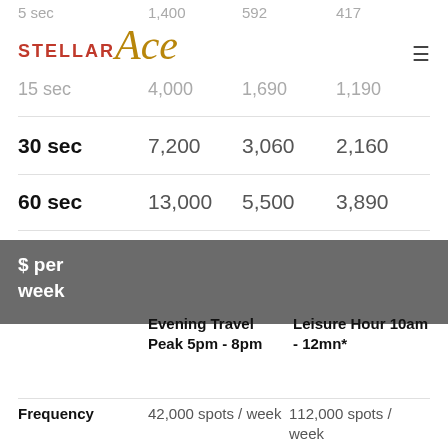STELLAR Ace
|  | Evening Travel Peak 5pm - 8pm | Leisure Hour 10am - 12mn* |
| --- | --- | --- |
| 5 sec | 1,400 | 592 | 417 |
| 15 sec | 4,000 | 1,690 | 1,190 |
| 30 sec | 7,200 | 3,060 | 2,160 |
| 60 sec | 13,000 | 5,500 | 3,890 |
| $ per week |  |  |
| Frequency | 42,000 spots/week | 112,000 spots/week |
| 5 sec | 522 | 623 |
| 15 sec | 1,490 | 1,780 |